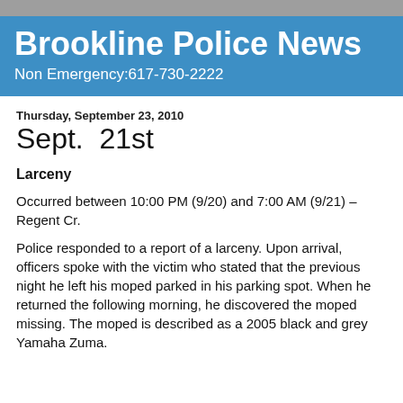Brookline Police News
Non Emergency:617-730-2222
Thursday, September 23, 2010
Sept. 21st
Larceny
Occurred between 10:00 PM (9/20) and 7:00 AM (9/21) – Regent Cr.
Police responded to a report of a larceny. Upon arrival, officers spoke with the victim who stated that the previous night he left his moped parked in his parking spot. When he returned the following morning, he discovered the moped missing. The moped is described as a 2005 black and grey Yamaha Zuma.